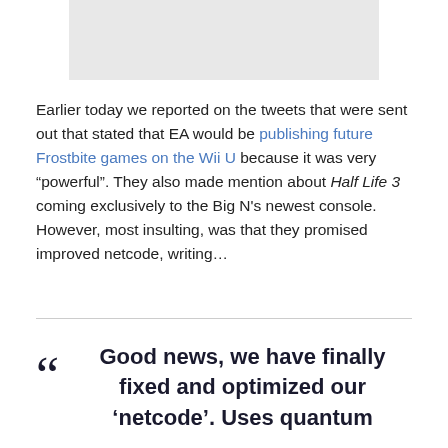[Figure (photo): Gray rectangular image placeholder at top of page]
Earlier today we reported on the tweets that were sent out that stated that EA would be publishing future Frostbite games on the Wii U because it was very “powerful”. They also made mention about Half Life 3 coming exclusively to the Big N’s newest console. However, most insulting, was that they promised improved netcode, writing…
““ Good news, we have finally fixed and optimized our ‘netcode’. Uses quantum